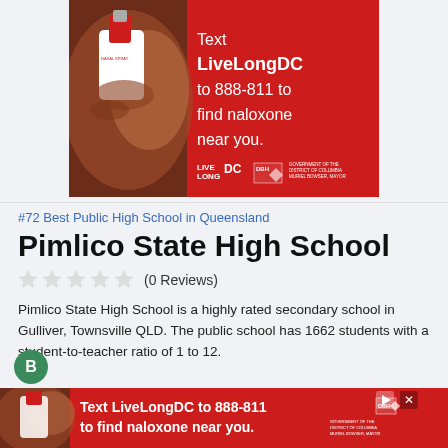[Figure (photo): Advertisement banner for LiveLongDC naloxone campaign showing hands holding a nasal spray on red background with text 'Text LiveLongDC to 888-811 to find naloxone near you.' with Live Long DC, DBH, and DC Government logos]
#72 Best Public High School in Queensland
Pimlico State High School
(0 Reviews)
Pimlico State High School is a highly rated secondary school in Gulliver, Townsville QLD. The public school has 1662 students with a student-to-teacher ratio of 1 to 12.
[Figure (photo): Second advertisement banner at bottom for LiveLongDC naloxone campaign with text 'Text LiveLongDC to 888-811 to find naloxone near you.']